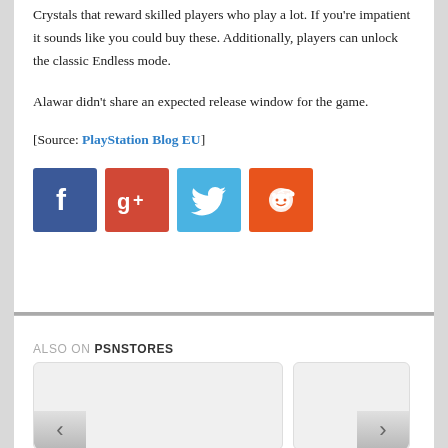Crystals that reward skilled players who play a lot. If you're impatient it sounds like you could buy these. Additionally, players can unlock the classic Endless mode.
Alawar didn't share an expected release window for the game.
[Source: PlayStation Blog EU]
[Figure (infographic): Social sharing icons: Facebook (blue), Google+ (red), Twitter (light blue), Reddit (orange)]
ALSO ON PSNSTORES
[Figure (screenshot): Two article card thumbnails with left and right navigation arrows, part of a carousel widget.]